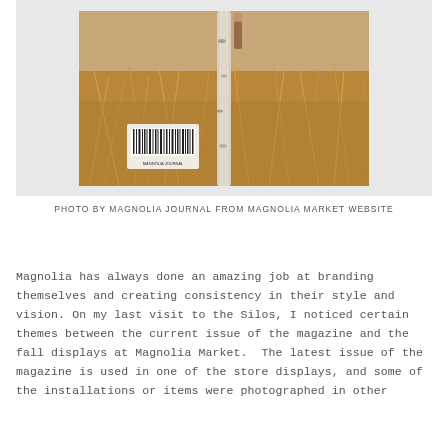[Figure (photo): Back cover of Magnolia Journal magazine showing a woman walking through tall golden grass in a field with a birch tree, barcode visible in lower left]
PHOTO BY MAGNOLIA JOURNAL FROM MAGNOLIA MARKET WEBSITE
Magnolia has always done an amazing job at branding themselves and creating consistency in their style and vision. On my last visit to the Silos, I noticed certain themes between the current issue of the magazine and the fall displays at Magnolia Market.  The latest issue of the magazine is used in one of the store displays, and some of the installations or items were photographed in other